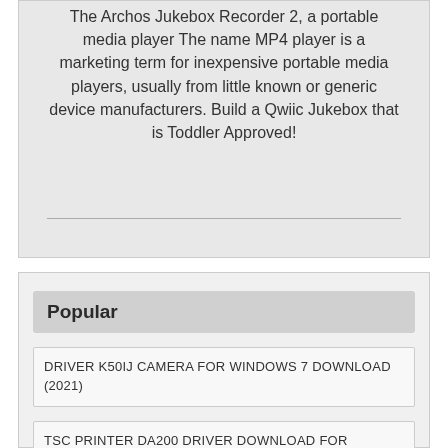The Archos Jukebox Recorder 2, a portable media player The name MP4 player is a marketing term for inexpensive portable media players, usually from little known or generic device manufacturers. Build a Qwiic Jukebox that is Toddler Approved!
Popular
DRIVER K50IJ CAMERA FOR WINDOWS 7 DOWNLOAD (2021)
TSC PRINTER DA200 DRIVER DOWNLOAD FOR WINDOWS 10/8/7/XP/VISTA